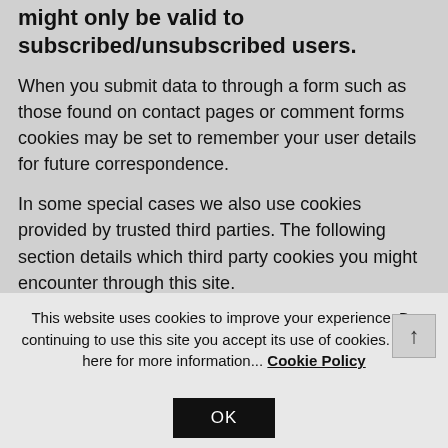might only be valid to subscribed/unsubscribed users.
When you submit data to through a form such as those found on contact pages or comment forms cookies may be set to remember your user details for future correspondence.
In some special cases we also use cookies provided by trusted third parties. The following section details which third party cookies you might encounter through this site.
This website uses cookies to improve your experience. By continuing to use this site you accept its use of cookies. Click here for more information... Cookie Policy
OK